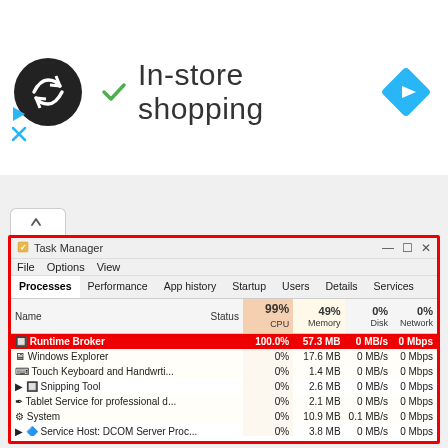[Figure (screenshot): Top bar with dark circular logo (loop arrow icon), green checkmark, 'In-store shopping' title text, and blue navigation diamond icon on the right. Play and X icons on the left below the bar.]
[Figure (screenshot): Windows Task Manager screenshot showing processes list. Runtime Broker highlighted in red using 100.0% CPU, 57.3 MB Memory, 0 MB/s Disk, 0 Mbps Network. Other processes listed: Windows Explorer, Touch Keyboard and Handwrti..., Snipping Tool, Tablet Service for professional d..., System, Service Host: DCOM Server Proc..., Desktop Window Manager, Task Manager, Google Chrome (32 bit), Client Server Runtime Process, System interrupts, Google Chrome (32 bit), utcsvc, Antimalware Service Executable.]